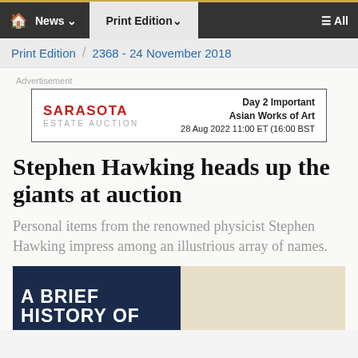🏠 News ∨   Print Edition ∨   ≡ All
Print Edition / 2368 - 24 November 2018
[Figure (other): Sarasota Estate Auction advertisement: Day 2 Important Asian Works of Art, 28 Aug 2022 11:00 ET (16:00 BST)]
Stephen Hawking heads up the giants at auction
Personal items from the renowned physicist Stephen Hawking impress among an illustrious array of names.
[Figure (photo): Partial book cover showing 'A BRIEF HISTORY OF' in white text on dark navy background, alongside a cream/beige background area]